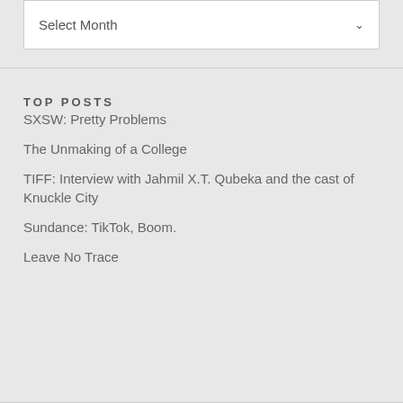Select Month
TOP POSTS
SXSW: Pretty Problems
The Unmaking of a College
TIFF: Interview with Jahmil X.T. Qubeka and the cast of Knuckle City
Sundance: TikTok, Boom.
Leave No Trace